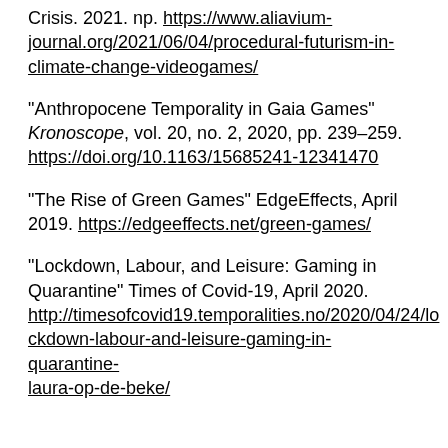Crisis. 2021. np. https://www.aliavium-journal.org/2021/06/04/procedural-futurism-in-climate-change-videogames/
"Anthropocene Temporality in Gaia Games" Kronoscope, vol. 20, no. 2, 2020, pp. 239–259. https://doi.org/10.1163/15685241-12341470
"The Rise of Green Games" EdgeEffects, April 2019. https://edgeeffects.net/green-games/
“Lockdown, Labour, and Leisure: Gaming in Quarantine” Times of Covid-19, April 2020. http://timesofcovid19.temporalities.no/2020/04/24/lockdown-labour-and-leisure-gaming-in-quarantine-laura-op-de-beke/